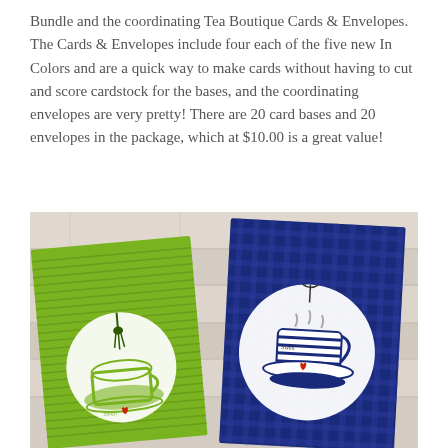Bundle and the coordinating Tea Boutique Cards & Envelopes. The Cards & Envelopes include four each of the five new In Colors and are a quick way to make cards without having to cut and score cardstock for the bases, and the coordinating envelopes are very pretty! There are 20 card bases and 20 envelopes in the package, which at $10.00 is a great value!
[Figure (photo): Two handmade greeting cards displayed on a light wood plank background. Left card has a bright green background with white embossed teacup and dark green tassel. Right card has a dark navy blue plaid/gingham pattern background with a white circle containing a blue striped teacup and small red heart accent. Both cards feature the word 'Swell'.]